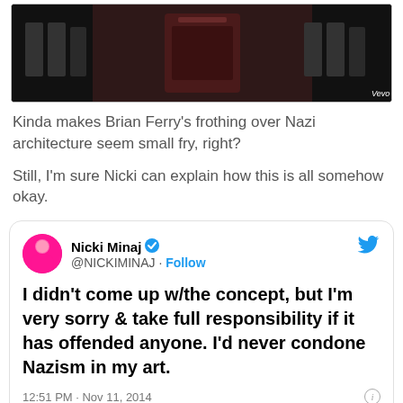[Figure (screenshot): Dark moody screenshot from a music video with symmetrical imagery, Vevo watermark in bottom right corner]
Kinda makes Brian Ferry's frothing over Nazi architecture seem small fry, right?
Still, I'm sure Nicki can explain how this is all somehow okay.
[Figure (screenshot): Embedded tweet from Nicki Minaj (@NICKIMINAJ) with blue verified checkmark and Follow link. Tweet text: I didn't come up w/the concept, but I'm very sorry & take full responsibility if it has offended anyone. I'd never condone Nazism in my art. Timestamp: 12:51 PM · Nov 11, 2014. Likes: 5.8K. Actions: Reply, Copy link. Read 670 replies button at bottom.]